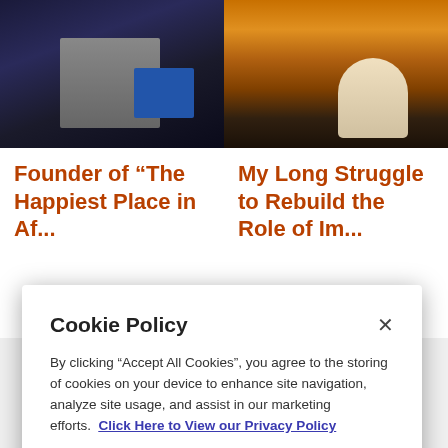[Figure (photo): Left card image: person at podium with dark background and a blue banner sign]
Founder of “The Happiest Place in Af...
[Figure (photo): Right card image: person sitting by water at sunset/dusk]
My Long Struggle to Rebuild the Role of Im...
Cookie Policy
By clicking “Accept All Cookies”, you agree to the storing of cookies on your device to enhance site navigation, analyze site usage, and assist in our marketing efforts.  Click Here to View our Privacy Policy
Cookies Settings
Reject All
Accept All Cookies